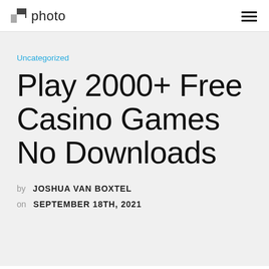photo
Uncategorized
Play 2000+ Free Casino Games No Downloads
by JOSHUA VAN BOXTEL
on SEPTEMBER 18TH, 2021